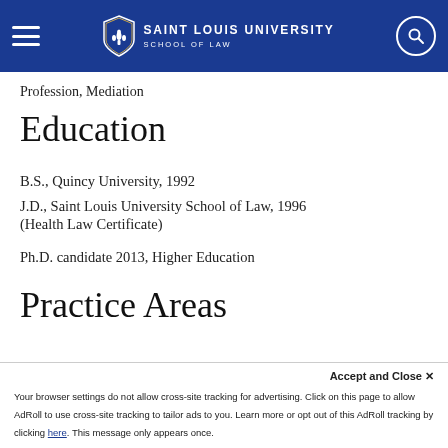SAINT LOUIS UNIVERSITY SCHOOL OF LAW
Profession, Mediation
Education
B.S., Quincy University, 1992
J.D., Saint Louis University School of Law, 1996 (Health Law Certificate)
Ph.D. candidate 2013, Higher Education
Practice Areas
Your browser settings do not allow cross-site tracking for advertising. Click on this page to allow AdRoll to use cross-site tracking to tailor ads to you. Learn more or opt out of this AdRoll tracking by clicking here. This message only appears once.